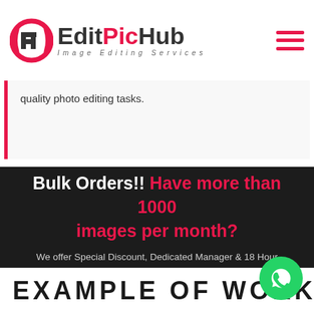EditPicHub — Image Editing Services
quality photo editing tasks.
Bulk Orders!! Have more than 1000 images per month?
We offer Special Discount, Dedicated Manager & 18 Hour Standard Turnaround for bulk orders
Bulk Pricing
EXAMPLE OF WORK